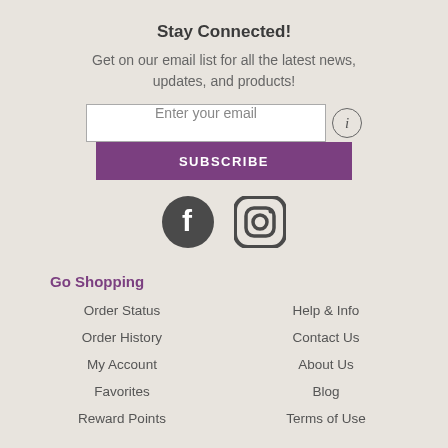Stay Connected!
Get on our email list for all the latest news, updates, and products!
[Figure (infographic): Email input field with placeholder 'Enter your email' and an info icon, followed by a purple SUBSCRIBE button]
[Figure (infographic): Facebook and Instagram social media icons (dark circular icons)]
Go Shopping
Order Status
Help & Info
Order History
Contact Us
My Account
About Us
Favorites
Blog
Reward Points
Terms of Use